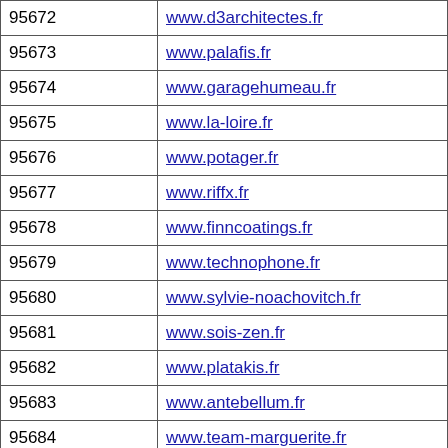| ID | URL |
| --- | --- |
| 95672 | www.d3architectes.fr |
| 95673 | www.palafis.fr |
| 95674 | www.garagehumeau.fr |
| 95675 | www.la-loire.fr |
| 95676 | www.potager.fr |
| 95677 | www.riffx.fr |
| 95678 | www.finncoatings.fr |
| 95679 | www.technophone.fr |
| 95680 | www.sylvie-noachovitch.fr |
| 95681 | www.sois-zen.fr |
| 95682 | www.platakis.fr |
| 95683 | www.antebellum.fr |
| 95684 | www.team-marguerite.fr |
| 95685 | www.izenahgoud.fr |
| 95686 | www.genkidama.fr |
| 95687 | www.breitenstein.fr |